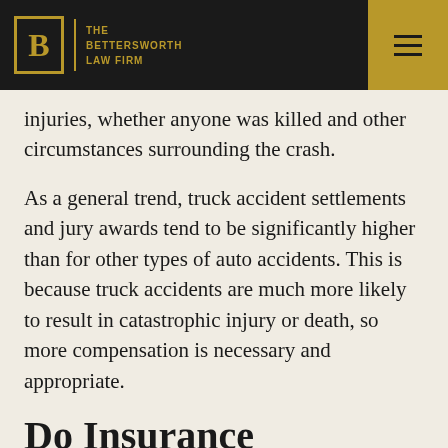The Bettersworth Law Firm
injuries, whether anyone was killed and other circumstances surrounding the crash.
As a general trend, truck accident settlements and jury awards tend to be significantly higher than for other types of auto accidents. This is because truck accidents are much more likely to result in catastrophic injury or death, so more compensation is necessary and appropriate.
Do Insurance